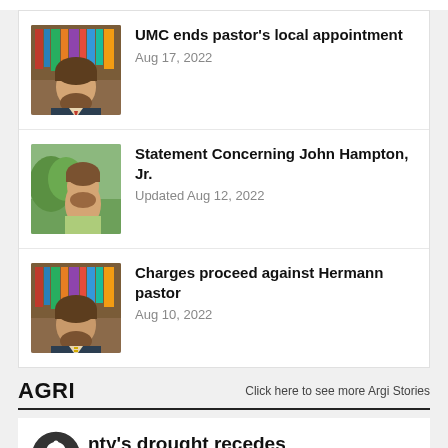UMC ends pastor's local appointment — Aug 17, 2022
Statement Concerning John Hampton, Jr. — Updated Aug 12, 2022
Charges proceed against Hermann pastor — Aug 10, 2022
AGRI
Click here to see more Argi Stories
nty's drought recedes — Updated Aug 16, 2022